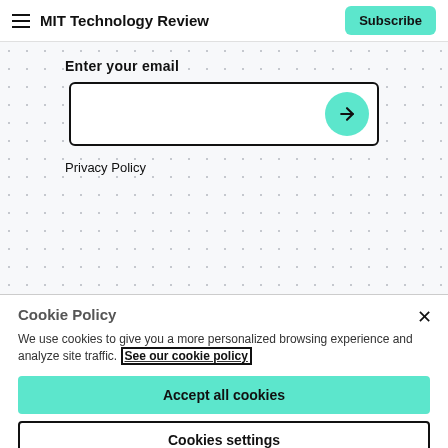MIT Technology Review
Enter your email
Privacy Policy
Cookie Policy
We use cookies to give you a more personalized browsing experience and analyze site traffic. See our cookie policy
Accept all cookies
Cookies settings